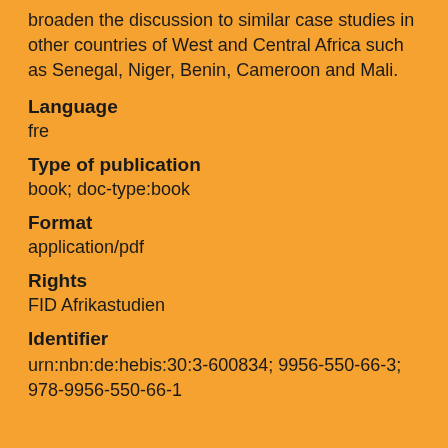broaden the discussion to similar case studies in other countries of West and Central Africa such as Senegal, Niger, Benin, Cameroon and Mali.
Language
fre
Type of publication
book; doc-type:book
Format
application/pdf
Rights
FID Afrikastudien
Identifier
urn:nbn:de:hebis:30:3-600834; 9956-550-66-3; 978-9956-550-66-1